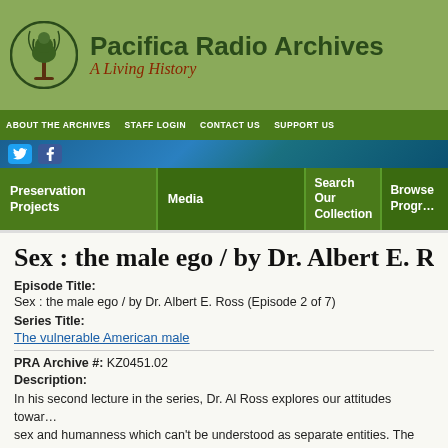Pacifica Radio Archives — A Living History
ABOUT THE ARCHIVES  STAFF LOGIN  CONTACT US  SUPPORT US
Preservation Projects  Media  Search Our Collection  Browse Programs
Sex : the male ego / by Dr. Albert E. R…
Episode Title:
Sex : the male ego / by Dr. Albert E. Ross (Episode 2 of 7)
Series Title:
The vulnerable American male
PRA Archive #: KZ0451.02
Description:
In his second lecture in the series, Dr. Al Ross explores our attitudes toward sex and humanness which can't be understood as separate entities. The p… We can't make a commitment to another unless we have one to ourselves…